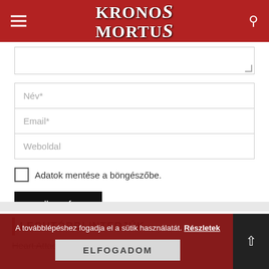KRONOS MORTUS
[Figure (screenshot): Web form with textarea, Név*, Email*, Weboldal input fields, checkbox 'Adatok mentése a böngészőbe.', and KÜLDÉS submit button]
LEGUTÓBBI INTERJÚK
Heart Attack interjú
A továbblépéshez fogadja el a sütik használatát. Részletek
ELFOGADOM